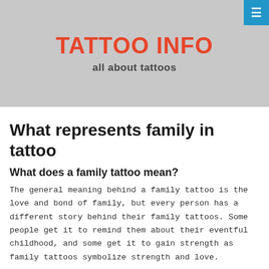TATTOO INFO
all about tattoos
What represents family in tattoo
What does a family tattoo mean?
The general meaning behind a family tattoo is the love and bond of family, but every person has a different story behind their family tattoos. Some people get it to remind them about their eventful childhood, and some get it to gain strength as family tattoos symbolize strength and love.